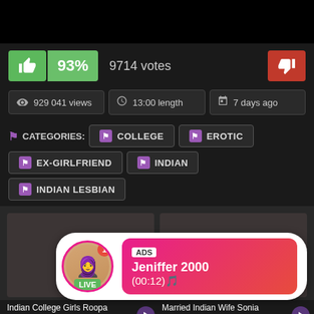[Figure (screenshot): Black bar at top of page, part of video player]
93%  9714 votes
929 041 views  13:00 length  7 days ago
CATEGORIES: COLLEGE  EROTIC  EX-GIRLFRIEND  INDIAN  INDIAN LESBIAN
[Figure (screenshot): Video thumbnails section with advertisement overlay showing Jeniffer 2000 LIVE]
Indian College Girls Roopa
Married Indian Wife Sonia